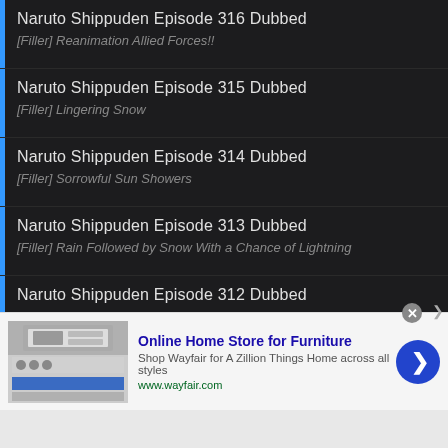Naruto Shippuden Episode 316 Dubbed
[Filler] Reanimation Allied Forces!!
Naruto Shippuden Episode 315 Dubbed
[Filler] Lingering Snow
Naruto Shippuden Episode 314 Dubbed
[Filler] Sorrowful Sun Showers
Naruto Shippuden Episode 313 Dubbed
[Filler] Rain Followed by Snow With a Chance of Lightning
Naruto Shippuden Episode 312 Dubbed
[Filler] The Old Man and the Dragon's Eye
Naruto Shippuden Episode 311 Dubbed
[Figure (infographic): Advertisement banner for Wayfair Online Home Store for Furniture with store image, title, description and arrow button]